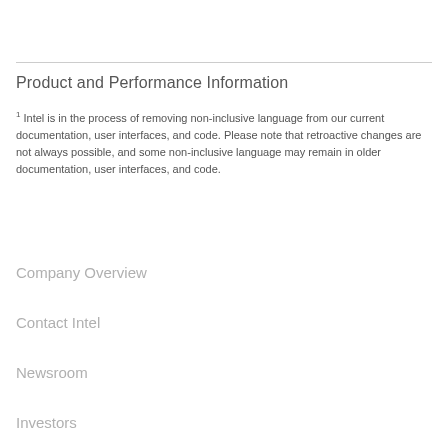Product and Performance Information
1 Intel is in the process of removing non-inclusive language from our current documentation, user interfaces, and code. Please note that retroactive changes are not always possible, and some non-inclusive language may remain in older documentation, user interfaces, and code.
Company Overview
Contact Intel
Newsroom
Investors